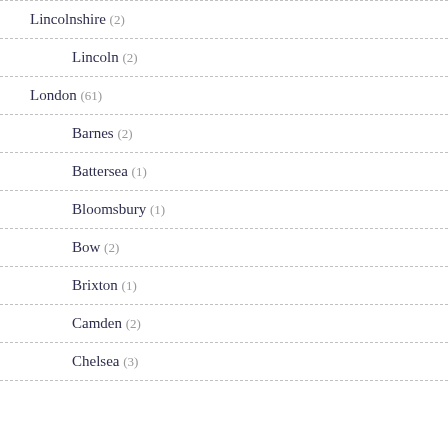Lincolnshire (2)
Lincoln (2)
London (61)
Barnes (2)
Battersea (1)
Bloomsbury (1)
Bow (2)
Brixton (1)
Camden (2)
Chelsea (3)